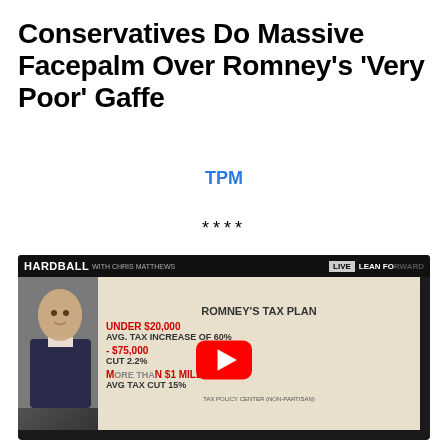Conservatives Do Massive Facepalm Over Romney's 'Very Poor' Gaffe
TPM
****
[Figure (screenshot): YouTube video thumbnail showing MSNBC Hardball segment with graphic about Romney's Tax Plan: Under $20,000 avg. tax increase of 60%; -$75,000 cut 2.2%; More than $1 million avg tax cut 15%. Channel icon shows 'd' avatar and title 'Not Concerned'.]